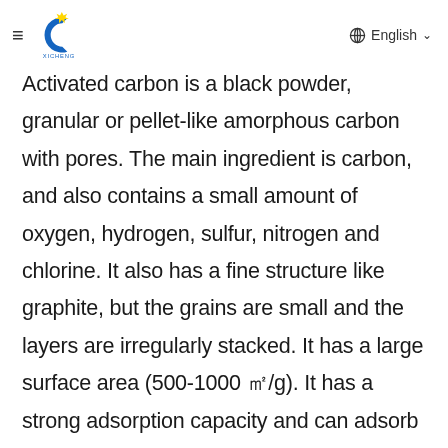≡  XICHENG  English
Activated carbon is a black powder, granular or pellet-like amorphous carbon with pores. The main ingredient is carbon, and also contains a small amount of oxygen, hydrogen, sulfur, nitrogen and chlorine. It also has a fine structure like graphite, but the grains are small and the layers are irregularly stacked. It has a large surface area (500-1000 ㎡/g). It has a strong adsorption capacity and can adsorb gases, liquids or colloidal solids on its surface.